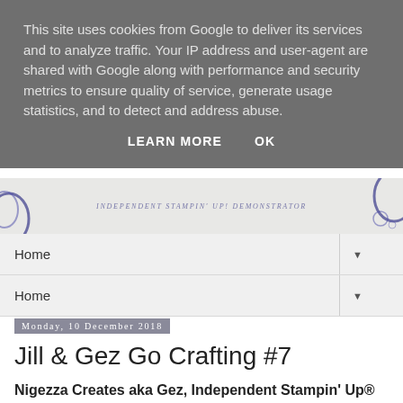This site uses cookies from Google to deliver its services and to analyze traffic. Your IP address and user-agent are shared with Google along with performance and security metrics to ensure quality of service, generate usage statistics, and to detect and address abuse.
LEARN MORE    OK
[Figure (screenshot): Website header image with blue swirl decorations and text reading INDEPENDENT STAMPIN' UP! DEMONSTRATOR]
Home ▼
Home ▼
Monday, 10 December 2018
Jill & Gez Go Crafting #7
Nigezza Creates aka Gez, Independent Stampin' Up® Demonstrator
Thank you for joining me today for another Project Share